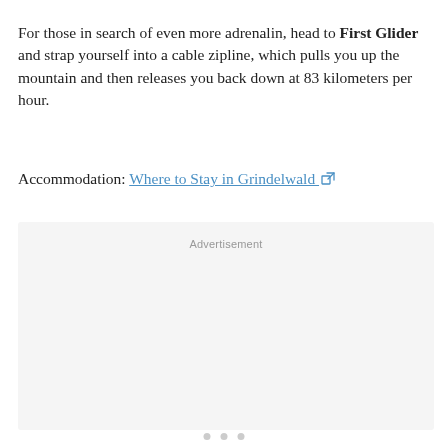For those in search of even more adrenalin, head to First Glider and strap yourself into a cable zipline, which pulls you up the mountain and then releases you back down at 83 kilometers per hour.
Accommodation: Where to Stay in Grindelwald [external link]
[Figure (other): Advertisement placeholder box with 'Advertisement' label centered at top]